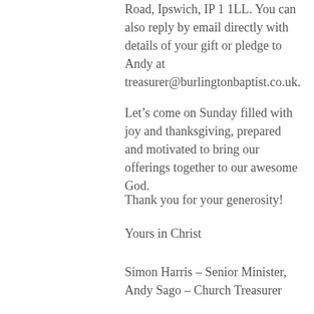Road, Ipswich, IP1 1LL. You can also reply by email directly with details of your gift or pledge to Andy at treasurer@burlingtonbaptist.co.uk.
Let’s come on Sunday filled with joy and thanksgiving, prepared and motivated to bring our offerings together to our awesome God.
Thank you for your generosity!
Yours in Christ
Simon Harris – Senior Minister, Andy Sago – Church Treasurer